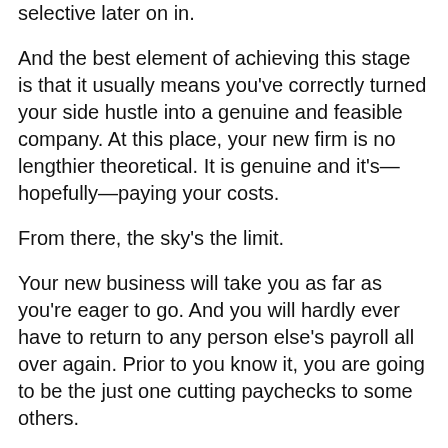selective later on in.
And the best element of achieving this stage is that it usually means you've correctly turned your side hustle into a genuine and feasible company. At this place, your new firm is no lengthier theoretical. It is genuine and it's—hopefully—paying your costs.
From there, the sky's the limit.
Your new business will take you as far as you're eager to go. And you will hardly ever have to return to any person else's payroll all over again. Prior to you know it, you are going to be the just one cutting paychecks to some others.
But that is a subject for an fully unique article—which you are welcome to generate now that you have received the requisite company expertise.